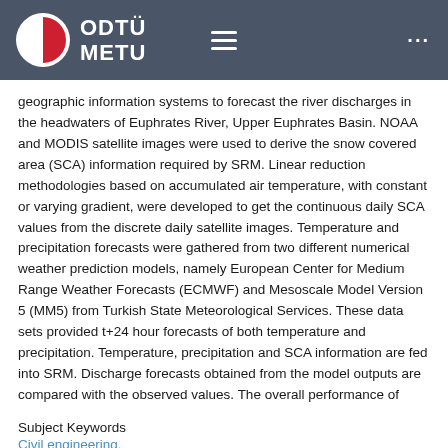[Figure (logo): ODTÜ METU university logo with red and white circular emblem on dark gray header bar with hamburger menu and dots menu icons]
geographic information systems to forecast the river discharges in the headwaters of Euphrates River, Upper Euphrates Basin. NOAA and MODIS satellite images were used to derive the snow covered area (SCA) information required by SRM. Linear reduction methodologies based on accumulated air temperature, with constant or varying gradient, were developed to get the continuous daily SCA values from the discrete daily satellite images. Temperature and precipitation forecasts were gathered from two different numerical weather prediction models, namely European Center for Medium Range Weather Forecasts (ECMWF) and Mesoscale Model Version 5 (MM5) from Turkish State Meteorological Services. These data sets provided t+24 hour forecasts of both temperature and precipitation. Temperature, precipitation and SCA information are fed into SRM. Discharge forecasts obtained from the model outputs are compared with the observed values. The overall performance of
Subject Keywords
Civil engineering.